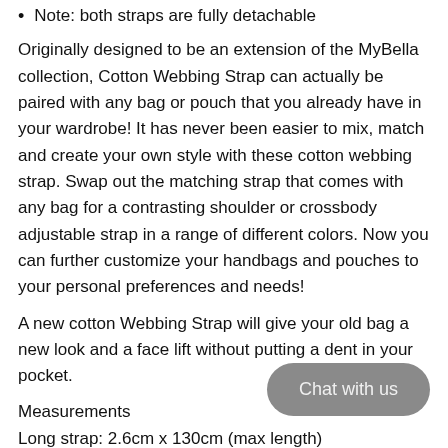Note: both straps are fully detachable
Originally designed to be an extension of the MyBella collection, Cotton Webbing Strap can actually be paired with any bag or pouch that you already have in your wardrobe! It has never been easier to mix, match and create your own style with these cotton webbing strap. Swap out the matching strap that comes with any bag for a contrasting shoulder or crossbody adjustable strap in a range of different colors. Now you can further customize your handbags and pouches to your personal preferences and needs!
A new cotton Webbing Strap will give your old bag a new look and a face lift without putting a dent in your pocket.
Measurements
Long strap: 2.6cm x 130cm (max length)
Short strap: 2.6cm x 40cm
Material: cotton strap, detachable metal h...